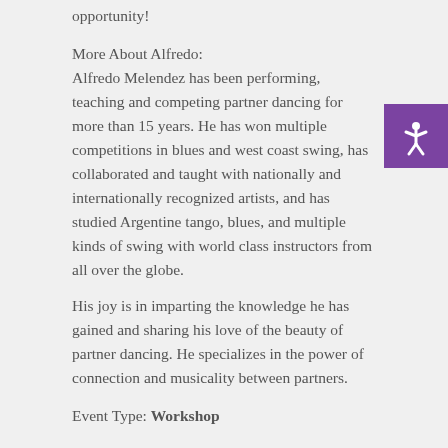opportunity!
More About Alfredo:
Alfredo Melendez has been performing, teaching and competing partner dancing for more than 15 years. He has won multiple competitions in blues and west coast swing, has collaborated and taught with nationally and internationally recognized artists, and has studied Argentine tango, blues, and multiple kinds of swing with world class instructors from all over the globe.
His joy is in imparting the knowledge he has gained and sharing his love of the beauty of partner dancing. He specializes in the power of connection and musicality between partners.
Event Type: Workshop